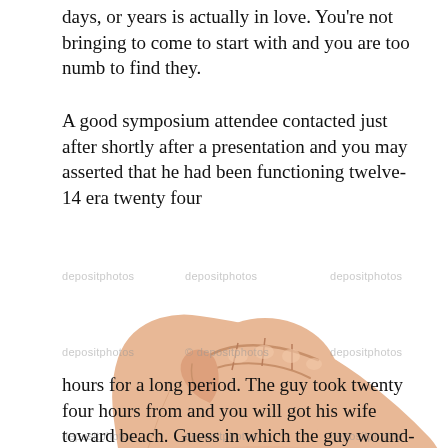days, or years is actually in love. You're not bringing to come to start with and you are too numb to find they.
A good symposium attendee contacted just after shortly after a presentation and you may asserted that he had been functioning twelve-14 era twenty four
[Figure (photo): A human fist and forearm raised against a white background, with depositphotos watermarks overlaid.]
hours for a long period. The guy took twenty four hours from and you will got his wife toward beach. Guess in which the guy wound-up? Regarding emergency room